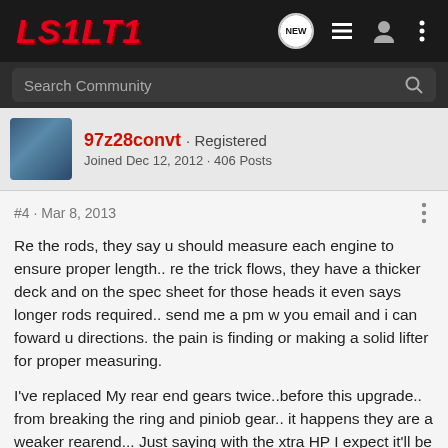LS1LT1
Search Community
97z28convt · Registered
Joined Dec 12, 2012 · 406 Posts
#4 · Mar 8, 2013
Re the rods, they say u should measure each engine to ensure proper length.. re the trick flows, they have a thicker deck and on the spec sheet for those heads it even says longer rods required.. send me a pm w you email and i can foward u directions. the pain is finding or making a solid lifter for proper measuring.
I've replaced My rear end gears twice..before this upgrade.. from breaking the ring and piniob gear.. it happens they are a weaker rearend... Just saying with the xtra HP I expect it'll be close as if i don't upgrade. And will cost her?